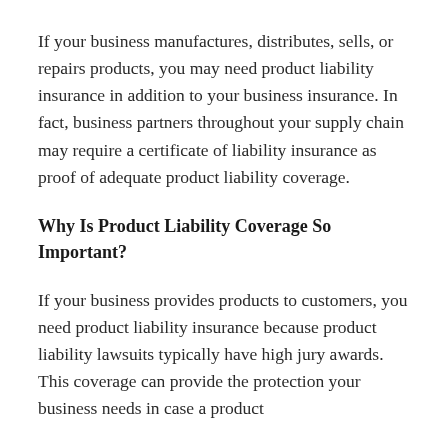If your business manufactures, distributes, sells, or repairs products, you may need product liability insurance in addition to your business insurance. In fact, business partners throughout your supply chain may require a certificate of liability insurance as proof of adequate product liability coverage.
Why Is Product Liability Coverage So Important?
If your business provides products to customers, you need product liability insurance because product liability lawsuits typically have high jury awards. This coverage can provide the protection your business needs in case a product